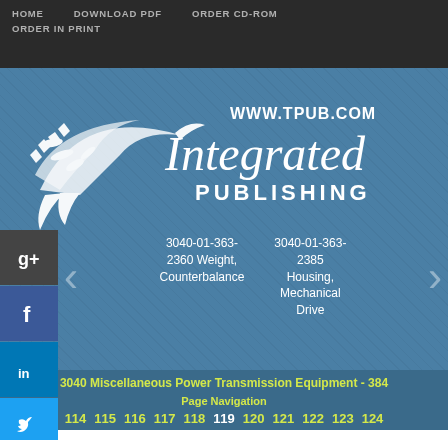HOME   DOWNLOAD PDF   ORDER CD-ROM   ORDER IN PRINT
[Figure (logo): Integrated Publishing logo with stylized bird/feather graphic and text WWW.TPUB.COM above Integrated PUBLISHING]
3040-01-363-2360 Weight, Counterbalance
3040-01-363-2385 Housing, Mechanical Drive
3040 Miscellaneous Power Transmission Equipment - 384
Page Navigation
114  115  116  117  118  119  120  121  122  123  124